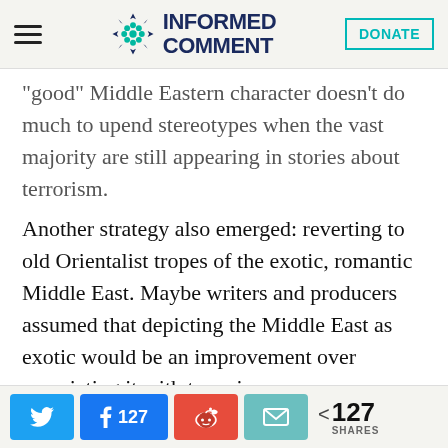Informed Comment [logo] DONATE
“good” Middle Eastern character doesn’t do much to upend stereotypes when the vast majority are still appearing in stories about terrorism.
Another strategy also emerged: reverting to old Orientalist tropes of the exotic, romantic Middle East. Maybe writers and producers assumed that depicting the Middle East as exotic would be an improvement over associating it with terrorism
Share buttons: Twitter, Facebook 127, Reddit, Email | < 127 SHARES